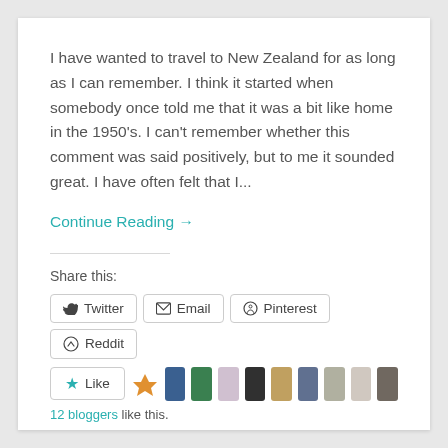I have wanted to travel to New Zealand for as long as I can remember. I think it started when somebody once told me that it was a bit like home in the 1950's. I can't remember whether this comment was said positively, but to me it sounded great. I have often felt that I...
Continue Reading →
Share this:
12 bloggers like this.
April 8, 2017  2